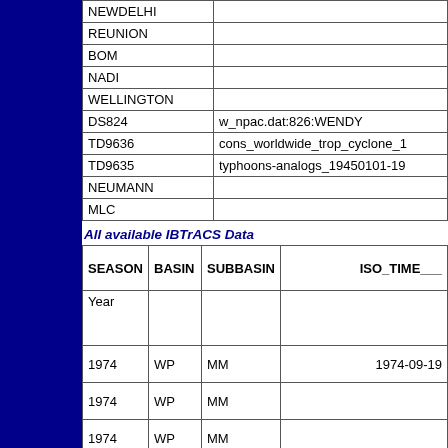|  |  |
| --- | --- |
| NEWDELHI |  |
| REUNION |  |
| BOM |  |
| NADI |  |
| WELLINGTON |  |
| DS824 | w_npac.dat:826:WENDY |
| TD9636 | cons_worldwide_trop_cyclone_1 |
| TD9635 | typhoons-analogs_19450101-19 |
| NEUMANN |  |
| MLC |  |
All available IBTrACS Data
| SEASON | BASIN | SUBBASIN | ISO_TIME___ |
| --- | --- | --- | --- |
| Year |  |  |  |
| 1974 | WP | MM | 1974-09-19 |
| 1974 | WP | MM |  |
| 1974 | WP | MM |  |
| 1974 | WP | MM |  |
| 1974 | WP | MM |  |